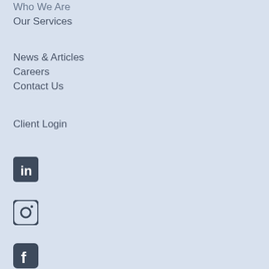Who We Are
Our Services
News & Articles
Careers
Contact Us
Client Login
[Figure (logo): LinkedIn social media icon - rounded square with 'in' text]
[Figure (logo): Instagram social media icon - rounded square camera outline]
[Figure (logo): Facebook social media icon - rounded square with 'f' letter]